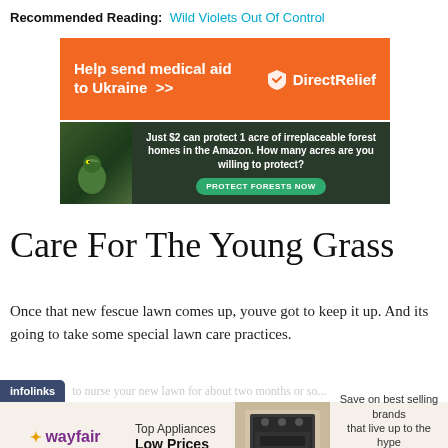Recommended Reading: Wild Violets Out Of Control
[Figure (infographic): Orange banner ad for Direct Relief: Help send medical aid to Ukraine >> with Direct Relief logo in white on orange background]
[Figure (infographic): Forest conservation ad with dark forest background and bird. Text: Just $2 can protect 1 acre of irreplaceable forest homes in the Amazon. How many acres are you willing to protect? PROTECT FORESTS NOW button.]
Care For The Young Grass
Once that new fescue lawn comes up, youve got to keep it up. And its going to take some special lawn care practices.
[Figure (infographic): Wayfair advertisement: Top Appliances Low Prices. Save on best selling brands that live up to the hype. Shop now button. Shows a kitchen appliance image.]